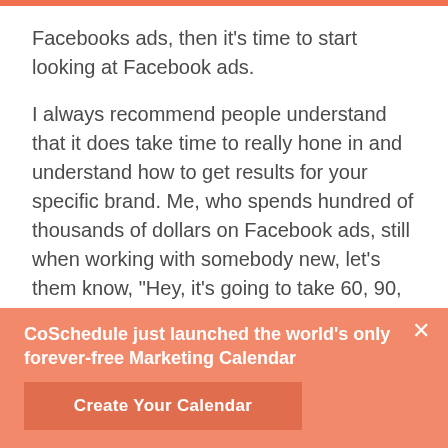Facebooks ads, then it's time to start looking at Facebook ads.
I always recommend people understand that it does take time to really hone in and understand how to get results for your specific brand. Me, who spends hundred of thousands of dollars on Facebook ads, still when working with somebody new, let's them know, "Hey, it's going to take 60, 90, 120 days to really start seeing the results from our Facebook ads along the way."
CoSchedule just launched the world's only forever-free Marketing Calendar
Create Your Calendar